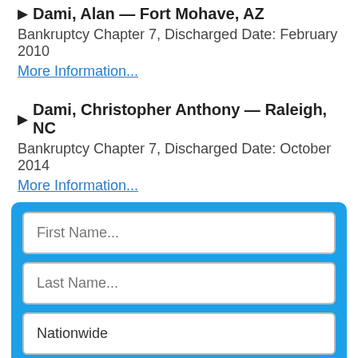▶ Dami, Alan — Fort Mohave, AZ
Bankruptcy Chapter 7, Discharged Date: February 2010
More Information...
▶ Dami, Christopher Anthony — Raleigh, NC
Bankruptcy Chapter 7, Discharged Date: October 2014
More Information...
[Figure (other): Search form with fields for First Name, Last Name, Nationwide location selector, and a Search button on a blue background]